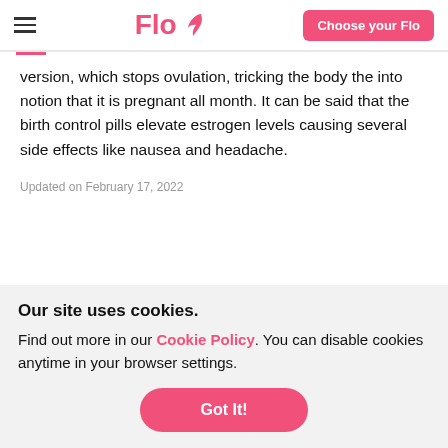Flo — Choose your Flo
version, which stops ovulation, tricking the body the into notion that it is pregnant all month. It can be said that the birth control pills elevate estrogen levels causing several side effects like nausea and headache.
Updated on February 17, 2022
Our site uses cookies.
Find out more in our Cookie Policy. You can disable cookies anytime in your browser settings.